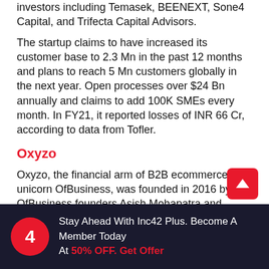investors including Temasek, BEENEXT, Softie4 Capital, and Trifecta Capital Advisors.
The startup claims to have increased its customer base to 2.3 Mn in the past 12 months and plans to reach 5 Mn customers globally in the next year. Open processes over $24 Bn annually and claims to add 100K SMEs every month. In FY21, it reported losses of INR 66 Cr, according to data from Tofler.
Oxyzo
Oxyzo, the financial arm of B2B ecommerce unicorn OfBusiness, was founded in 2016 by OfBusiness founders Asish Mohapatra and Ruchi Kalra. The st...
Stay Ahead With Inc42 Plus. Become A Member Today At 50% OFF. Get Offer